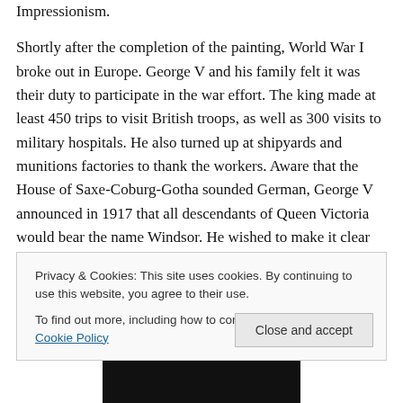Impressionism.

Shortly after the completion of the painting, World War I broke out in Europe. George V and his family felt it was their duty to participate in the war effort. The king made at least 450 trips to visit British troops, as well as 300 visits to military hospitals. He also turned up at shipyards and munitions factories to thank the workers. Aware that the House of Saxe-Coburg-Gotha sounded German, George V announced in 1917 that all descendants of Queen Victoria would bear the name Windsor. He wished to make it clear that the royal family did not affiliate with the enemy
Privacy & Cookies: This site uses cookies. By continuing to use this website, you agree to their use.
To find out more, including how to control cookies, see here: Cookie Policy
Close and accept
[Figure (photo): Partial photo at the bottom of the page, showing a dark image, likely a portrait]